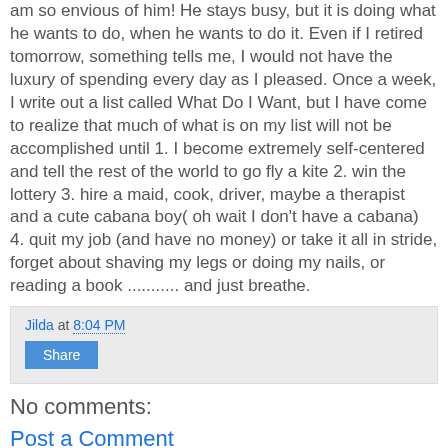am so envious of him! He stays busy, but it is doing what he wants to do, when he wants to do it. Even if I retired tomorrow, something tells me, I would not have the luxury of spending every day as I pleased. Once a week, I write out a list called What Do I Want, but I have come to realize that much of what is on my list will not be accomplished until 1. I become extremely self-centered and tell the rest of the world to go fly a kite 2. win the lottery 3. hire a maid, cook, driver, maybe a therapist and a cute cabana boy( oh wait I don't have a cabana) 4. quit my job (and have no money) or take it all in stride, forget about shaving my legs or doing my nails, or reading a book ........... and just breathe.
Jilda at 8:04 PM
Share
No comments:
Post a Comment